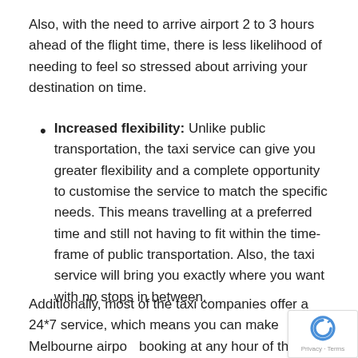Also, with the need to arrive airport 2 to 3 hours ahead of the flight time, there is less likelihood of needing to feel so stressed about arriving your destination on time.
Increased flexibility: Unlike public transportation, the taxi service can give you greater flexibility and a complete opportunity to customise the service to match the specific needs. This means travelling at a preferred time and still not having to fit within the time-frame of public transportation. Also, the taxi service will bring you exactly where you want with no stops in between.
Additionally, most of the taxi companies offer a 24*7 service, which means you can make Melbourne airport booking at any hour of the day or night.